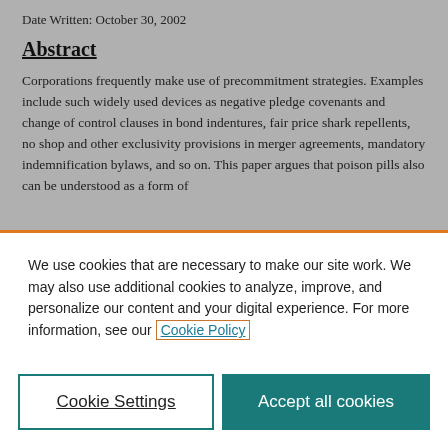Date Written: October 30, 2002
Abstract
Corporations frequently make use of precommitment strategies. Examples include such widely used devices as negative pledge covenants and change of control clauses in bond indentures, fair price shark repellents, no shop and other exclusivity provisions in merger agreements, mandatory indemnification bylaws, and so on. This paper argues that poison pills also can be understood as a form of
We use cookies that are necessary to make our site work. We may also use additional cookies to analyze, improve, and personalize our content and your digital experience. For more information, see our Cookie Policy
Cookie Settings
Accept all cookies